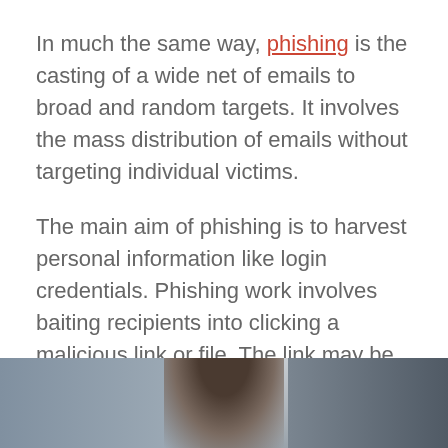In much the same way, phishing is the casting of a wide net of emails to broad and random targets. It involves the mass distribution of emails without targeting individual victims.
The main aim of phishing is to harvest personal information like login credentials. Phishing work involves baiting recipients into clicking a malicious link or file. The link may be a sham website of well known brand, such as Apple, Microsoft, Google, Amazon, and other popular brands.
[Figure (photo): Partial view of a person (head/shoulders visible) photographed from below, appearing at the bottom of the page, with background elements suggesting an indoor environment.]